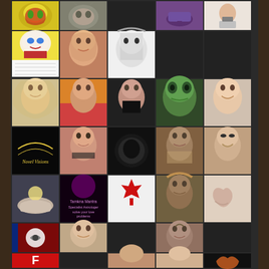[Figure (photo): Grid of social media profile pictures and avatars arranged in a 5-column by 9-row grid on a dark background. Images include: tribal mask, cat, empty, purple teacup, woman with device; South Park cartoon/Cartman, girl portrait, black-white portrait, empty, empty; blonde woman, colorful woman, dark woman posing, green alien face, smiling man; logo with wings (Novel Visions), Indian woman, dark round object, outdoorsy man, smiling woman with glasses; hands holding light, astrologer ad, red maple leaf, native-costumed person, hands making heart; black-red-blue logo, older man portrait, empty, man portrait, empty; red F logo, empty, Asian woman, blonde woman with sunglasses, heart sunset hands; Free Tibet landscape, cat avatar, dark circle logo, Black woman, woman with glasses; elderly man with camera, empty, cat face, pyramid, spiritual healing logo]